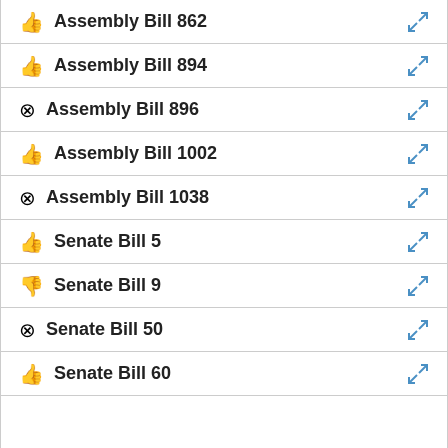👍 Assembly Bill 862
👍 Assembly Bill 894
⊗ Assembly Bill 896
👍 Assembly Bill 1002
⊗ Assembly Bill 1038
👍 Senate Bill 5
👎 Senate Bill 9
⊗ Senate Bill 50
👍 Senate Bill 60